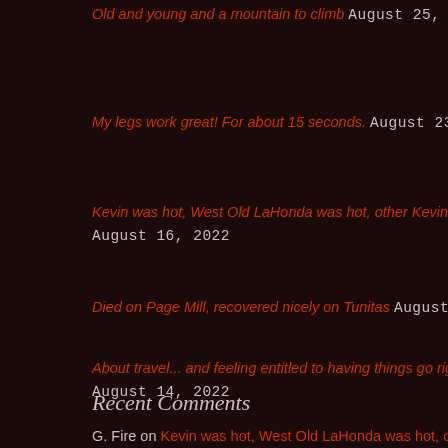Old and young and a mountain to climb August 25, 2022
My legs work great! For about 15 seconds. August 23, 2022
Kevin was hot, West Old LaHonda was hot, other Kevin and I were not August 16, 2022
Died on Page Mill, recovered nicely on Tunitas August 14, 2022
About travel... and feeling entitled to having things go right. August 14, 2022
Recent Comments
G. Fire on Kevin was hot, West Old LaHonda was hot, other Kevin and I were not